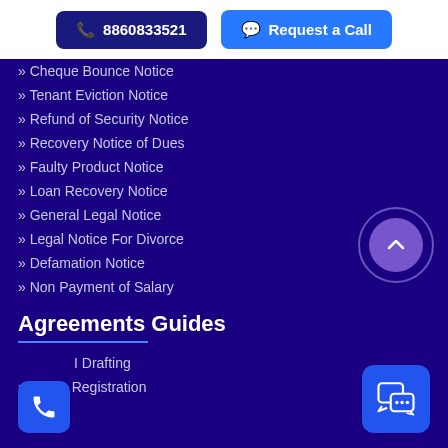[Figure (other): Phone number button: 8860833521 and Request a Call button in top bar]
» Cheque Bounce Notice
» Tenant Eviction Notice
» Refund of Security Notice
» Recovery Notice of Dues
» Faulty Product Notice
» Loan Recovery Notice
» General Legal Notice
» Legal Notice For Divorce
» Defamation Notice
» Non Payment of Salary
Agreements Guides
» I Drafting
» Lease Registration